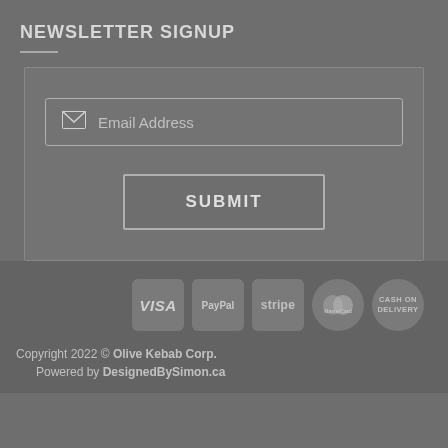NEWSLETTER SIGNUP
[Figure (screenshot): Newsletter signup form with email address input field and a SUBMIT button]
[Figure (infographic): Payment method icons: VISA, PayPal, stripe, MasterCard, CASH ON DELIVERY]
Copyright 2022 © Olive Kebab Corp.
Powered by DesignedBySimon.ca